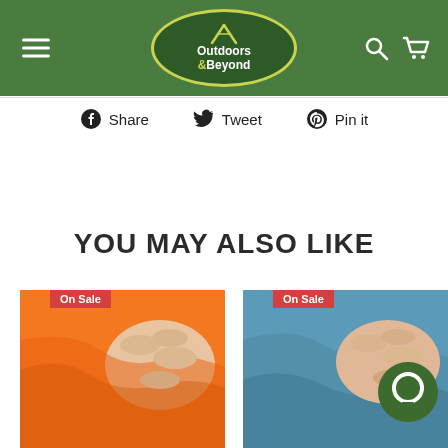Outdoors & Beyond — navigation header with menu, logo, search and cart icons
Share  Tweet  Pin it
YOU MAY ALSO LIKE
[Figure (photo): Orange microfiber towel being held by a hand, with 'On Sale' badge]
[Figure (photo): Blue microfiber towel being held by a hand, with 'On Sale' badge]